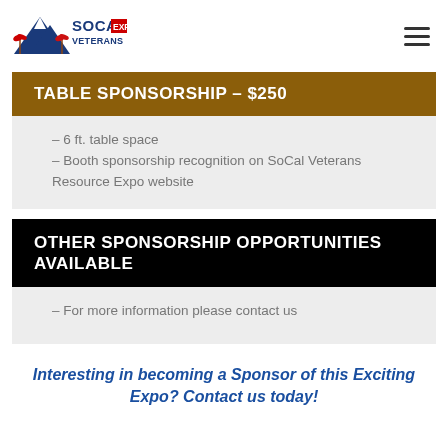[Figure (logo): SoCal Veterans Expo logo with mountain and palm tree graphic on left and text SOCAL VETERANS EXPO on right]
TABLE SPONSORSHIP – $250
– 6 ft. table space
– Booth sponsorship recognition on SoCal Veterans Resource Expo website
OTHER SPONSORSHIP OPPORTUNITIES AVAILABLE
– For more information please contact us
Interesting in becoming a Sponsor of this Exciting Expo? Contact us today!